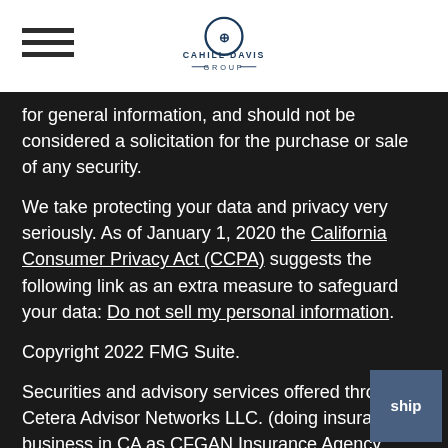Cahill Davis Group
for general information, and should not be considered a solicitation for the purchase or sale of any security.
We take protecting your data and privacy very seriously. As of January 1, 2020 the California Consumer Privacy Act (CCPA) suggests the following link as an extra measure to safeguard your data: Do not sell my personal information.
Copyright 2022 FMG Suite.
Securities and advisory services offered through Cetera Advisor Networks LLC. (doing insurance business in CA as CFGAN Insurance Agency LLC), member FINRA/SIPC, a broker/dealer and a Registered Investment Adviser. Cetera is under separate ownership from any other named entity.